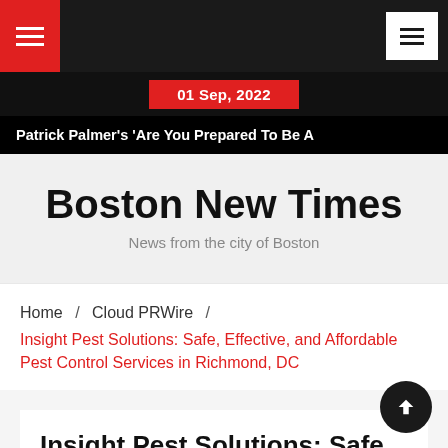Boston New Times — Navigation bar with hamburger menus
01 Sep, 2022
Patrick Palmer's 'Are You Prepared To Be A
Boston New Times
News from the city of Boston
Home / Cloud PRWire /
Insight Pest Solutions: Safe, Effective, and Affordable Pest Control Services in Richmond, DC
Insight Pest Solutions: Safe, Effective, and Affordable Pest